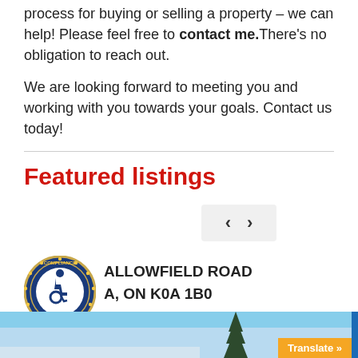process for buying or selling a property – we can help! Please feel free to contact me.There's no obligation to reach out.
We are looking forward to meeting you and working with you towards your goals. Contact us today!
Featured listings
[Figure (other): Navigation arrows (left and right chevrons) in a grey rounded button]
[Figure (logo): ADA Site Compliance badge — circular blue and gold seal with wheelchair accessibility icon]
ALLOWFIELD ROAD
A, ON K0A 1B0
[Figure (photo): Bottom strip showing a winter outdoor scene with a blue sky and an evergreen tree]
Translate »